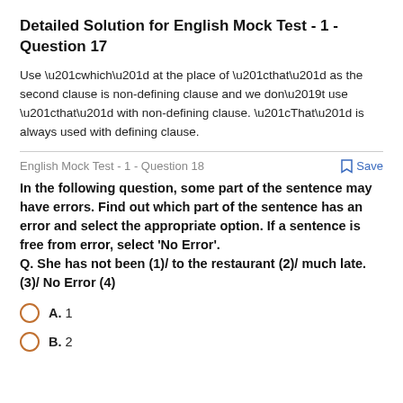Detailed Solution for English Mock Test - 1 - Question 17
Use “which” at the place of “that” as the second clause is non-defining clause and we don’t use “that” with non-defining clause. “That” is always used with defining clause.
English Mock Test - 1 - Question 18
In the following question, some part of the sentence may have errors. Find out which part of the sentence has an error and select the appropriate option. If a sentence is free from error, select ‘No Error’.
Q. She has not been (1)/ to the restaurant (2)/ much late. (3)/ No Error (4)
A. 1
B. 2